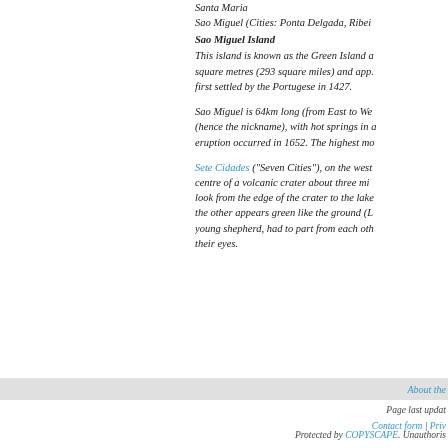Santa Maria
Sao Miguel (Cities: Ponta Delgada, Ribei...
Sao Miguel Island
This island is known as the Green Island a... square metres (293 square miles) and app... first settled by the Portugese in 1427.
Sao Miguel is 64km long (from East to We... (hence the nickname), with hot springs in a... eruption occurred in 1652. The highest mo...
Sete Cidades ("Seven Cities"), on the west... centre of a volcanic crater about three mi... look from the edge of the crater to the lake... the other appears green like the ground (L... young shepherd, had to part from each oth... their eyes.
About the ...
Page last updat... Contact form | Priv...
Protected by COPYSCAPE. Unauthoris...